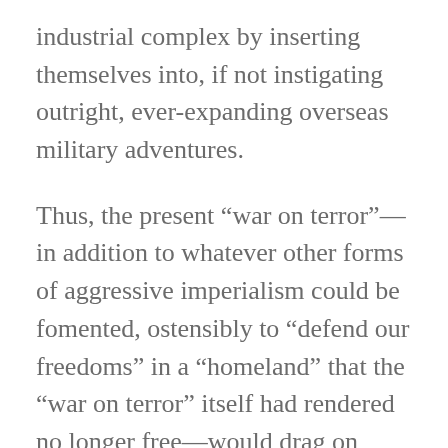industrial complex by inserting themselves into, if not instigating outright, ever-expanding overseas military adventures.
Thus, the present “war on terror”—in addition to whatever other forms of aggressive imperialism could be fomented, ostensibly to “defend our freedoms” in a “homeland” that the “war on terror” itself had rendered no longer free—would drag on forever, at untold costs in lives and treasure.
As dark as these clouds would be, they could contain something of a thin silver lining.
For it was from out of this dark silver…